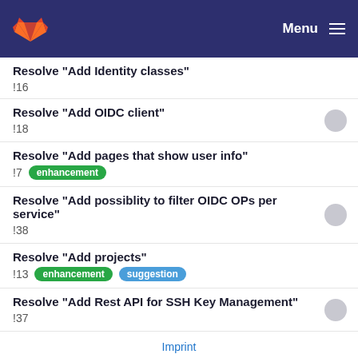Menu
Resolve "Add Identity classes"
!16
Resolve "Add OIDC client"
!18
Resolve "Add pages that show user info"
!7  enhancement
Resolve "Add possiblity to filter OIDC OPs per service"
!38
Resolve "Add projects"
!13  enhancement  suggestion
Resolve "Add Rest API for SSH Key Management"
!37
Imprint